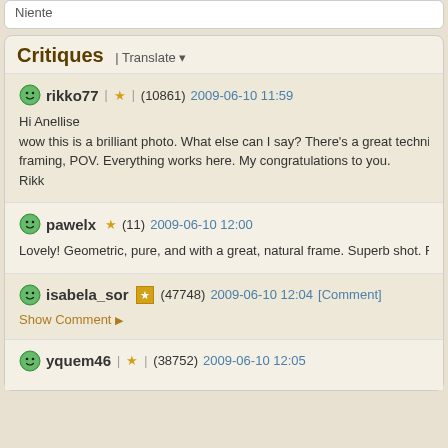Niente
Critiques | Translate
rikko77 | ★ (10861) 2009-06-10 11:59
Hi Anellise
wow this is a brilliant photo. What else can I say? There's a great technique beh framing, POV. Everything works here. My congratulations to you.
Rikk
pawelx ★ (11) 2009-06-10 12:00
Lovely! Geometric, pure, and with a great, natural frame. Superb shot. Regards
isabela_sor ★ (47748) 2009-06-10 12:04 [Comment]
Show Comment ▶
yquem46 | ★ (38752) 2009-06-10 12:05